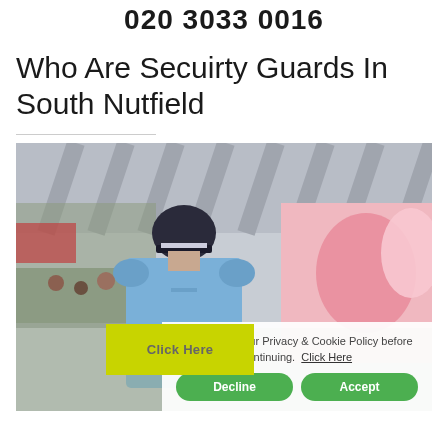020 3033 0016
Who Are Secuirty Guards In South Nutfield
[Figure (photo): Security guard in blue uniform and cap viewed from behind, standing in a shopping mall with a large pink advertisement display in the background. Overlaid with a cookie consent popup reading 'Please read our Privacy & Cookie Policy before continuing. Click Here' with Decline and Accept buttons, and a yellow 'Click Here' button.]